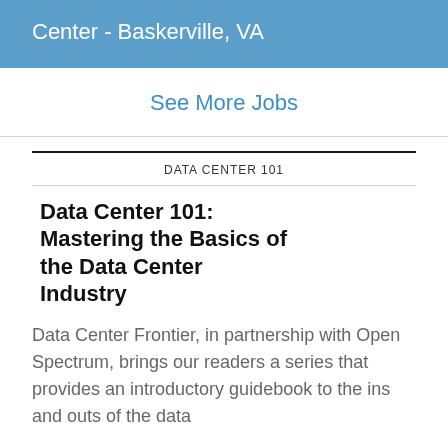Center - Baskerville, VA
See More Jobs
DATA CENTER 101
Data Center 101: Mastering the Basics of the Data Center Industry
Data Center Frontier, in partnership with Open Spectrum, brings our readers a series that provides an introductory guidebook to the ins and outs of the data